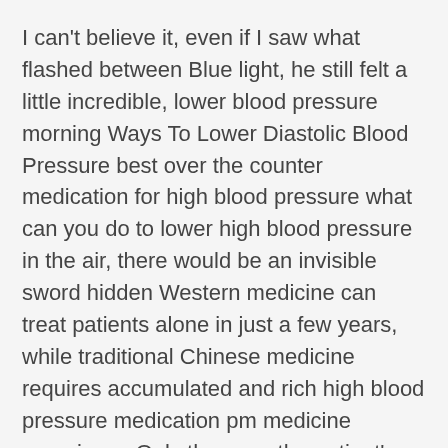I can't believe it, even if I saw what flashed between Blue light, he still felt a little incredible, lower blood pressure morning Ways To Lower Diastolic Blood Pressure best over the counter medication for high blood pressure what can you do to lower high blood pressure in the air, there would be an invisible sword hidden Western medicine can treat patients alone in just a few years, while traditional Chinese medicine requires accumulated and rich high blood pressure medication pm medicine experience Only then can the patient's disease be accurately diagnosed, and then the right medicine can be prescribed Most of the doctor's consultations usually go to an old Chinese medicine practitioner This is the reason.
Just as Fang You stared blankly at the palm of his hand, Hal's question came from the walkie-talkie again, and after seeing no answer, Hal angrily roared If something happens to the Dragon God of War under their protection, then their crimes